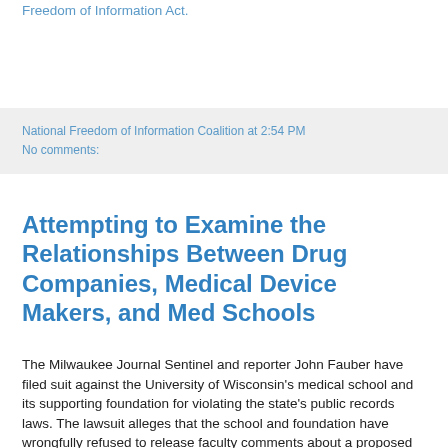Freedom of Information Act.
National Freedom of Information Coalition at 2:54 PM
No comments:
Attempting to Examine the Relationships Between Drug Companies, Medical Device Makers, and Med Schools
The Milwaukee Journal Sentinel and reporter John Fauber have filed suit against the University of Wisconsin's medical school and its supporting foundation for violating the state's public records laws. The lawsuit alleges that the school and foundation have wrongfully refused to release faculty comments about a proposed conflict-of-interest policy.